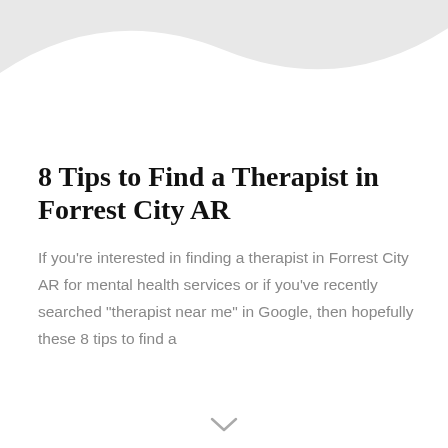[Figure (illustration): Decorative wave/arc background shape in light grey at the top of the page]
8 Tips to Find a Therapist in Forrest City AR
If you're interested in finding a therapist in Forrest City AR for mental health services or if you've recently searched "therapist near me" in Google, then hopefully these 8 tips to find a